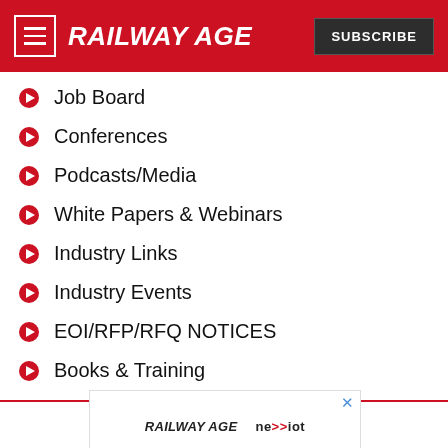RAILWAY AGE | SUBSCRIBE
Job Board
Conferences
Podcasts/Media
White Papers & Webinars
Industry Links
Industry Events
EOI/RFP/RFQ NOTICES
Books & Training
[Figure (screenshot): Advertisement banner featuring Railway Age and Nexxiot logos]